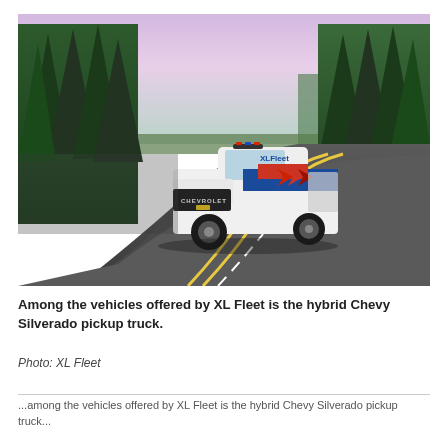[Figure (photo): A white Chevrolet Silverado pickup truck with XL Fleet branding (blue, red, and white chevron graphics on the side) driving on a curved highway road surrounded by tall evergreen trees under a purple-hued sky.]
Among the vehicles offered by XL Fleet is the hybrid Chevy Silverado pickup truck.
Photo: XL Fleet
...among the vehicles offered by XL Fleet is the hybrid Chevy Silverado pickup truck...